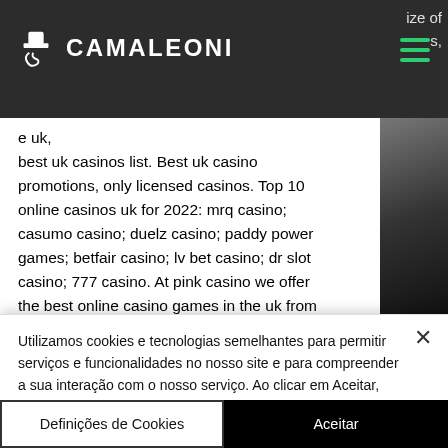CAMALEONI
ize of s, e uk, best uk casinos list. Best uk casino promotions, only licensed casinos. Top 10 online casinos uk for 2022: mrq casino; casumo casino; duelz casino; paddy power games; betfair casino; lv bet casino; dr slot casino; 777 casino. At pink casino we offer the best online casino games in the uk from slots, to live casino, bingo &amp; more. The
Utilizamos cookies e tecnologias semelhantes para permitir serviços e funcionalidades no nosso site e para compreender a sua interação com o nosso serviço. Ao clicar em Aceitar, você concorda com o uso de tais tecnologias para marketing e análise. Ver a Política de Privacidade
Definições de Cookies
Aceitar